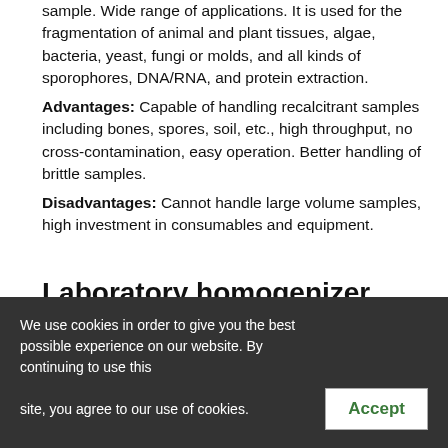sample. Wide range of applications. It is used for the fragmentation of animal and plant tissues, algae, bacteria, yeast, fungi or molds, and all kinds of sporophores, DNA/RNA, and protein extraction. Advantages: Capable of handling recalcitrant samples including bones, spores, soil, etc., high throughput, no cross-contamination, easy operation. Better handling of brittle samples. Disadvantages: Cannot handle large volume samples, high investment in consumables and equipment.
Laboratory homogenizer specifications
Benchtop homogenizer
We use cookies in order to give you the best possible experience on our website. By continuing to use this site, you agree to our use of cookies.